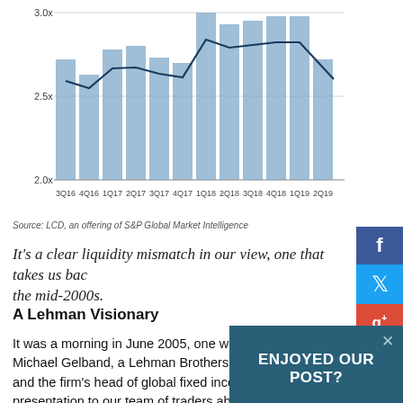[Figure (bar-chart): Leverage chart (partial)]
Source: LCD, an offering of S&P Global Market Intelligence
It's a clear liquidity mismatch in our view, one that takes us back to the mid-2000s.
A Lehman Visionary
It was a morning in June 2005, one we'll never forget. Michael Gelband, a Lehman Brothers managing director and the firm's head of global fixed income, gave a presentation to our team of traders about the dark side of the real estate market. The meeting began with him handing out a dossier of about...